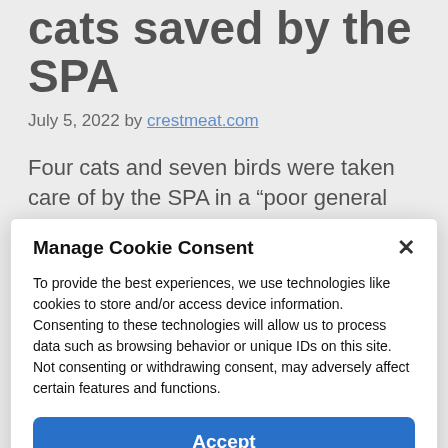cats saved by the SPA
July 5, 2022 by crestmeat.com
Four cats and seven birds were taken care of by the SPA in a “poor general condition”, after an intervention in a house in the east of
Manage Cookie Consent
To provide the best experiences, we use technologies like cookies to store and/or access device information. Consenting to these technologies will allow us to process data such as browsing behavior or unique IDs on this site. Not consenting or withdrawing consent, may adversely affect certain features and functions.
Accept
Cookie Policy